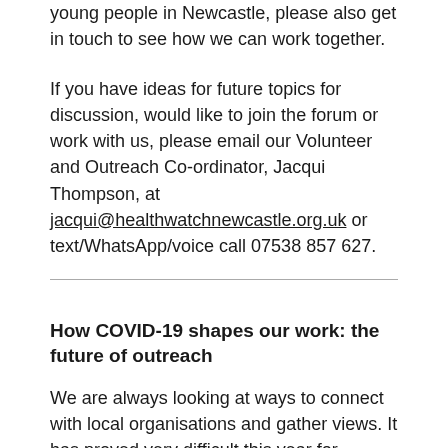young people in Newcastle, please also get in touch to see how we can work together.
If you have ideas for future topics for discussion, would like to join the forum or work with us, please email our Volunteer and Outreach Co-ordinator, Jacqui Thompson, at jacqui@healthwatchnewcastle.org.uk or text/WhatsApp/voice call 07538 857 627.
How COVID-19 shapes our work: the future of outreach
We are always looking at ways to connect with local organisations and gather views. It has proved very difficult this year for obvious reasons! So, we